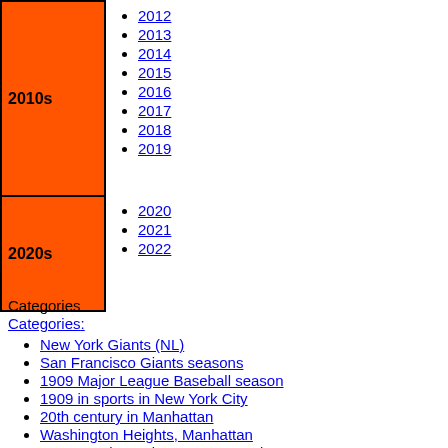| Decade | Years |
| --- | --- |
| 2010s | 2012, 2013, 2014, 2015, 2016, 2017, 2018, 2019 |
| 2020s | 2020, 2021, 2022 |
Categories
Categories:
New York Giants (NL)
San Francisco Giants seasons
1909 Major League Baseball season
1909 in sports in New York City
20th century in Manhattan
Washington Heights, Manhattan
San Francisco Giants season stubs
New York City sport stubs